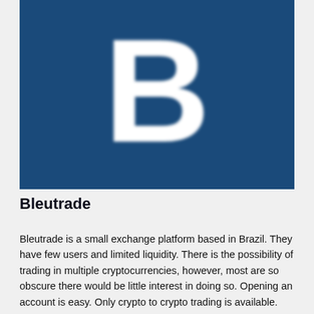[Figure (logo): Bleutrade logo: dark blue square background with a large white letter B centered on it]
Bleutrade
Bleutrade is a small exchange platform based in Brazil. They have few users and limited liquidity. There is the possibility of trading in multiple cryptocurrencies, however, most are so obscure there would be little interest in doing so. Opening an account is easy. Only crypto to crypto trading is available.